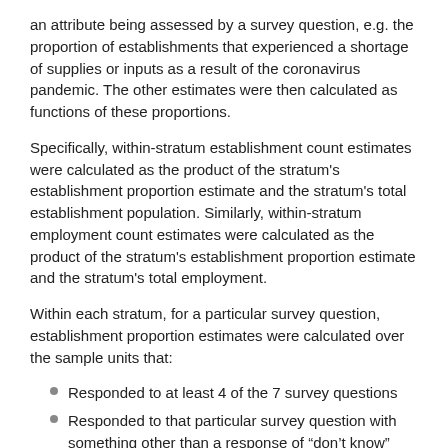an attribute being assessed by a survey question, e.g. the proportion of establishments that experienced a shortage of supplies or inputs as a result of the coronavirus pandemic. The other estimates were then calculated as functions of these proportions.
Specifically, within-stratum establishment count estimates were calculated as the product of the stratum's establishment proportion estimate and the stratum's total establishment population. Similarly, within-stratum employment count estimates were calculated as the product of the stratum's establishment proportion estimate and the stratum's total employment.
Within each stratum, for a particular survey question, establishment proportion estimates were calculated over the sample units that:
Responded to at least 4 of the 7 survey questions
Responded to that particular survey question with something other than a response of “don’t know”
When estimating stratum-level establishment and employment counts, sample unit weights were adjusted upward to account for both unit and item non-response. For these purposes, don’t know